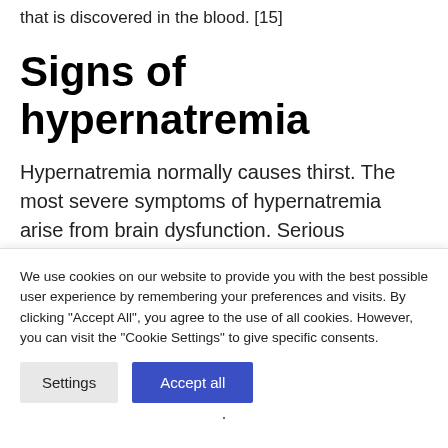that is discovered in the blood. [15]
Signs of hypernatremia
Hypernatremia normally causes thirst. The most severe symptoms of hypernatremia arise from brain dysfunction. Serious hypernatremia can lead to confusion, muscle twitching, seizures,
We use cookies on our website to provide you with the best possible user experience by remembering your preferences and visits. By clicking "Accept All", you agree to the use of all cookies. However, you can visit the "Cookie Settings" to give specific consents.